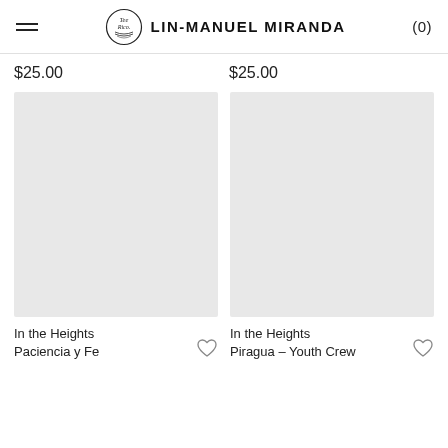LIN-MANUEL MIRANDA (0)
$25.00
$25.00
[Figure (photo): Product image placeholder (light gray rectangle) for In the Heights Paciencia y Fe item]
[Figure (photo): Product image placeholder (light gray rectangle) for In the Heights Piragua Youth Crew item]
In the Heights Paciencia y Fe
In the Heights Piragua – Youth Crew